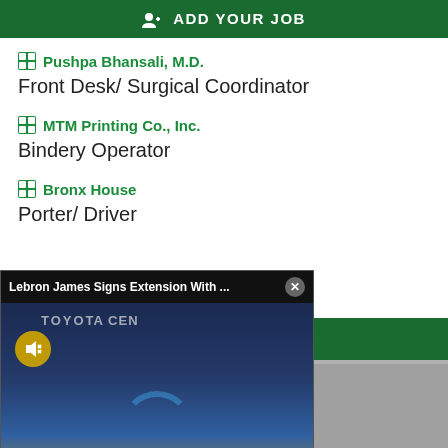+ ADD YOUR JOB
Pushpa Bhansali, M.D.
Front Desk/ Surgical Coordinator
MTM Printing Co., Inc.
Bindery Operator
Bronx House
Porter/ Driver
[Figure (screenshot): Video popup showing LeBron James basketball news: 'Lebron James Signs Extension With ...' headline, with Lakers jersey #23 image and lower bar reading 'LEBRON JAMES SIGNS 2 YEAR EXTENSION WITH LAKERS WORTH $97 MILLION']
Sections | NY Edition | Philly | Games | Advertise | Sign Up